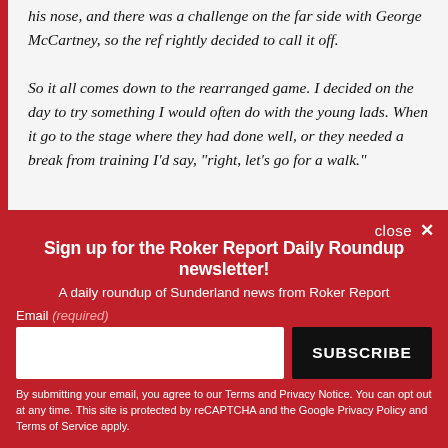his nose, and there was a challenge on the far side with George McCartney, so the ref rightly decided to call it off.

So it all comes down to the rearranged game. I decided on the day to try something I would often do with the young lads. When it go to the stage where they had done well, or they needed a break from training I'd say, "right, let's go for a walk."
close ×
Sign up for the Roker Report Daily Roundup newsletter!
A daily roundup of Sunderland news from Roker Report
Email (required)
SUBSCRIBE
By submitting your email, you agree to our Terms and Privacy Notice. You can opt out at any time. This site is protected by reCAPTCHA and the Google Privacy Policy and Terms of Service apply.